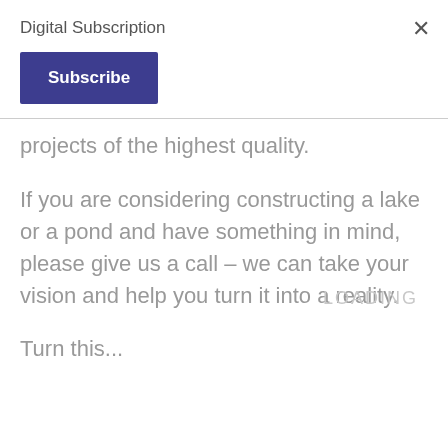Digital Subscription
Subscribe
projects of the highest quality.
If you are considering constructing a lake or a pond and have something in mind, please give us a call – we can take your vision and help you turn it into a reality.
LOADING
Turn this...